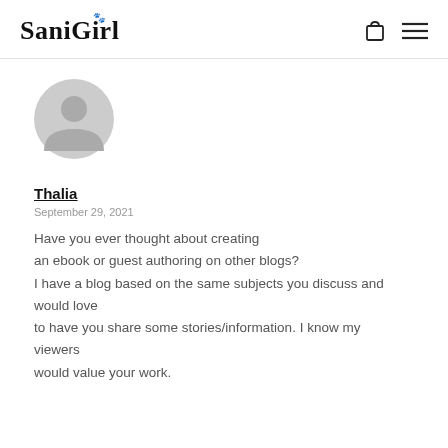SaniGirl
[Figure (illustration): Generic user avatar icon — grey circle with grey person silhouette]
Thalia
September 29, 2021
Have you ever thought about creating an ebook or guest authoring on other blogs? I have a blog based on the same subjects you discuss and would love to have you share some stories/information. I know my viewers would value your work.